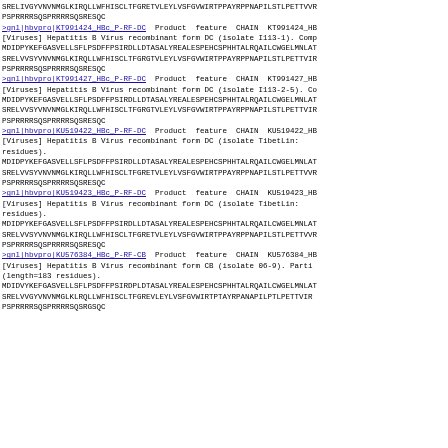SRELIVGYVNVNMGLKIRQLLWFHISCLTFGRETVLEYLVSFGVWIRTPPAYRPPNAPILSTLPETTVVR
PSPRRRRSQSPRRRRSQSRESQC
>gnl|hbvpro|KT991424_HBc_P-RF-DC  Product  feature  CHAIN  KT991424_HB
[Viruses] Hepatitis B Virus recombinant form DC (isolate I113-1). Comp
MDIDPYKEFGASVELLSFLPSDFFPSIRDLLDTASALYREALESPEHCSPHHTALRQAILCWGELMNLAT
SRELVVSYVNVNMGLKIRQLLWFHISCLTFGRGTVLEYLVSFGVWIRTPPAYRPPNAPILSTLPETTVIR
PSPRRRRSQSPRRRRSQSRESQC
>gnl|hbvpro|KT991427_HBc_P-RF-DC  Product  feature  CHAIN  KT991427_HB
[Viruses] Hepatitis B Virus recombinant form DC (isolate I113-2-5). Co
MDIDPYKEFGASVELLSFLPSDFFPSIRDLLDTASALYREALESPEHCSPHHTALRQAILCWGELMNLAT
SRELVVSYVNVNMGLKIRQLLWFHISCLTFGRGTVLEYLVSFGVWIRTPPAYRPPNAPILSTLPETTVIR
PSPRRRRSQSPRRRRSQSRESQC
>gnl|hbvpro|KU519422_HBc_P-RF-DC  Product  feature  CHAIN  KU519422_HB
[Viruses] Hepatitis B Virus recombinant form DC (isolate TibetLin:
residues).
MDIDPYKEFGASVELLSFLPSDFFPSIRDLLDTASALYREALESPEHCSPHHTALRQAILCWGELMNLAT
SRELVVSYVNVNMGLKIRQLLWFHISCLTFGRETVLEYLVSFGVWIRTPPAYRPPNAPILSTLPETTVVR
PSPRRRRSQSPRRRRSQSRESQC
>gnl|hbvpro|KU519423_HBc_P-RF-DC  Product  feature  CHAIN  KU519423_HB
[Viruses] Hepatitis B Virus recombinant form DC (isolate TibetLin:
residues).
MDIDPYKEFGASVELLSFLPSDFFPSIRDLLDTASALYREALESPEHCSPHHTALRQAILCWGELMNLAT
SRELVVSYVNVNMGLKIRQLLWFHISCLTFGRETVLEYLVSFGVWIRTPPAYRPPNAPILSTLPETTVVR
PSPRRRRSQSPRRRRSQSRESQC
>gnl|hbvpro|KU576384_HBc_P-RF-CB  Product  feature  CHAIN  KU576384_HB
[Viruses] Hepatitis B Virus recombinant form CB (isolate 06-9). Parti
(length=183 residues).
MDIDVYKEFGASVELLSFLPSDFFPSIRDPLDTASALYREALESPEHCSPHHTALRQAILCWGELMNLAT
SRELVVGYVNVNMGLKLRQLLWFHISCLTFGREVLEYLVSFGVWIRTPTAYRPANAPILPTLPETTVIR
PSPRRRRSQSPRRRRSQSRGSQC